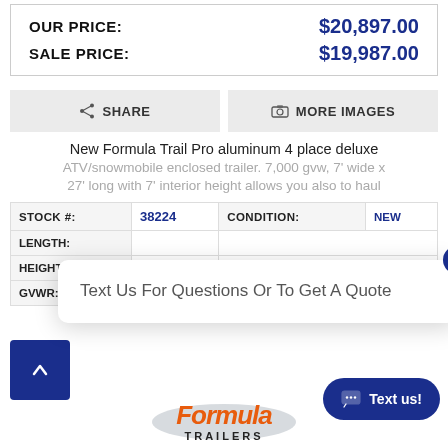| OUR PRICE: | $20,897.00 |
| SALE PRICE: | $19,987.00 |
SHARE
MORE IMAGES
New Formula Trail Pro aluminum 4 place deluxe ATV/snowmobile enclosed trailer. 7,000 gvw, 7' wide x 27' long with 7' interior height allows you also to haul
| STOCK #: | 38224 | CONDITION: | NEW |
| --- | --- | --- | --- |
| LENGTH: |  |  |  |
| HEIGHT: |  |  |  |
| GVWR: | 7000 |  |  |
Text Us For Questions Or To Get A Quote
[Figure (logo): Formula Trailers logo in orange and grey]